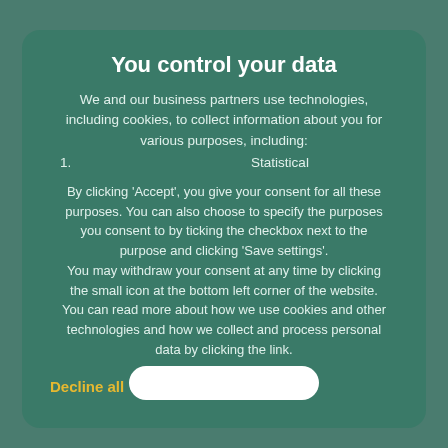You control your data
We and our business partners use technologies, including cookies, to collect information about you for various purposes, including:
1. Statistical
By clicking 'Accept', you give your consent for all these purposes. You can also choose to specify the purposes you consent to by ticking the checkbox next to the purpose and clicking 'Save settings'. You may withdraw your consent at any time by clicking the small icon at the bottom left corner of the website. You can read more about how we use cookies and other technologies and how we collect and process personal data by clicking the link.
Decline all